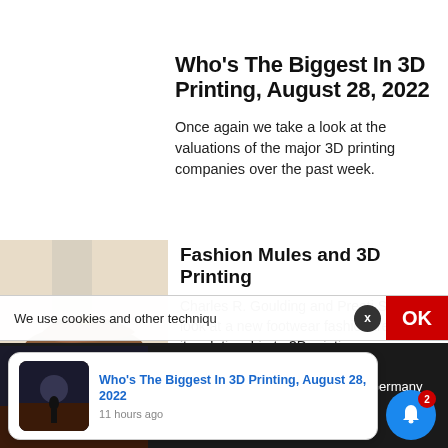Who's The Biggest In 3D Printing, August 28, 2022
Once again we take a look at the valuations of the major 3D printing companies over the past week.
[Figure (photo): Photo of brown leather fashion mules/shoes on a light background]
Fashion Mules and 3D Printing
Charles R. Goulding and Preeti Sulibhavi look at a new footwear fashion trend and its relationship to 3D printing.
We use cookies and other techniqu
Who's The Biggest In 3D Printing, August 28, 2022
11 hours ago
Researchers at Jacobs University in Germany are developing a large format